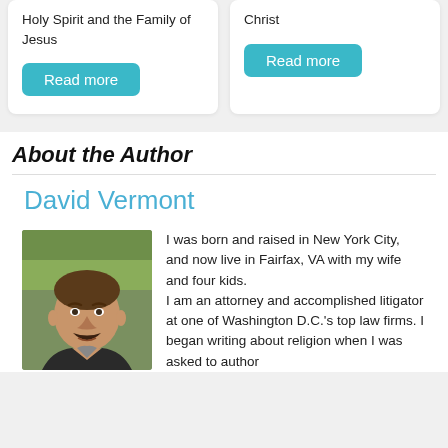Holy Spirit and the Family of Jesus
Read more
Christ
Read more
About the Author
David Vermont
[Figure (photo): Headshot photo of David Vermont, a middle-aged man with a mustache, outdoors with trees in background]
I was born and raised in New York City, and now live in Fairfax, VA with my wife and four kids. I am an attorney and accomplished litigator at one of Washington D.C.'s top law firms. I began writing about religion when I was asked to author